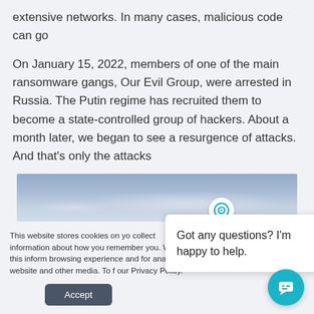extensive networks. In many cases, malicious code can go
On January 15, 2022, members of one of the main ransomware gangs, Our Evil Group, were arrested in Russia. The Putin regime has recruited them to become a state-controlled group of hackers. About a month later, we began to see a resurgence of attacks. And that’s only the attacks
[Figure (photo): Partial sky/clouds photo strip, blue-grey tones]
This website stores cookies on yo collect information about how you remember you. We use this inform browsing experience and for anal this website and other media. To f our Privacy Policy.
Got any questions? I’m happy to help.